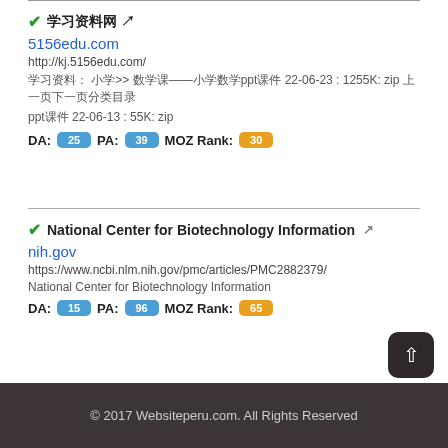✔ [CJK characters] 🔗
5156edu.com
http://kj.5156edu.com/
[CJK]: [CJK]>> [CJK]——[CJK]ppt[CJK] 22-06-23 : 1255K: zip [CJK]
ppt[CJK] 22-06-13 : 55K: zip
DA: 25  PA: 39  MOZ Rank: 30
✔ National Center for Biotechnology Information 🔗
nih.gov
https://www.ncbi.nlm.nih.gov/pmc/articles/PMC2882379/
National Center for Biotechnology Information
DA: 15  PA: 96  MOZ Rank: 65
© 2017 Websiteperu.com. All Rights Reserved